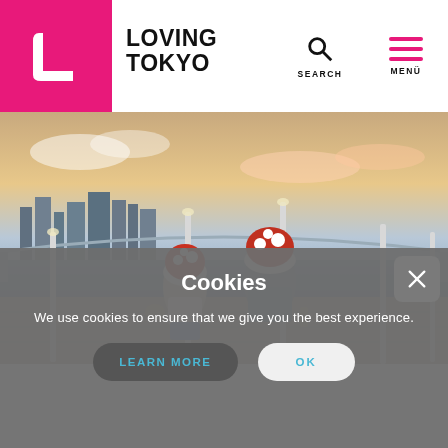LOVING TOKYO — SEARCH | MENÜ
[Figure (photo): Two people dressed in Mario-Toad costumes posing on an outdoor plaza in Tokyo with the city skyline and Rainbow Bridge in the background at dusk.]
Cookies
We use cookies to ensure that we give you the best experience.
LEARN MORE   OK